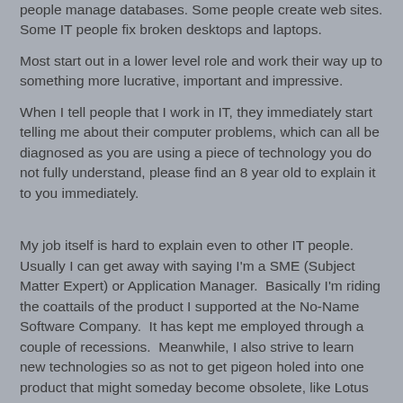people manage databases. Some people create web sites. Some IT people fix broken desktops and laptops.
Most start out in a lower level role and work their way up to something more lucrative, important and impressive.
When I tell people that I work in IT, they immediately start telling me about their computer problems, which can all be diagnosed as you are using a piece of technology you do not fully understand, please find an 8 year old to explain it to you immediately.
My job itself is hard to explain even to other IT people. Usually I can get away with saying I'm a SME (Subject Matter Expert) or Application Manager.  Basically I'm riding the coattails of the product I supported at the No-Name Software Company.  It has kept me employed through a couple of recessions.  Meanwhile, I also strive to learn new technologies so as not to get pigeon holed into one product that might someday become obsolete, like Lotus Notes.